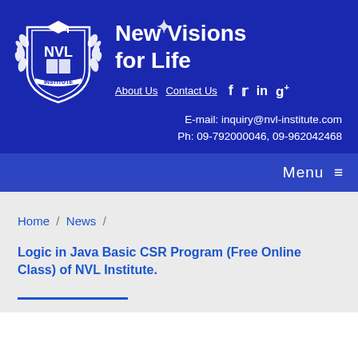[Figure (logo): NVL Institute shield logo with laurel wreath and graduation cap, white on blue background]
New Visions for Life
About Us  Contact Us  f  (twitter)  in  g+
E-mail: inquiry@nvl-institute.com
Ph: 09-792000046, 09-962042468
Menu ≡
Home / News /
Logic in Java Basic CSR Program (Free Online Class) of NVL Institute.